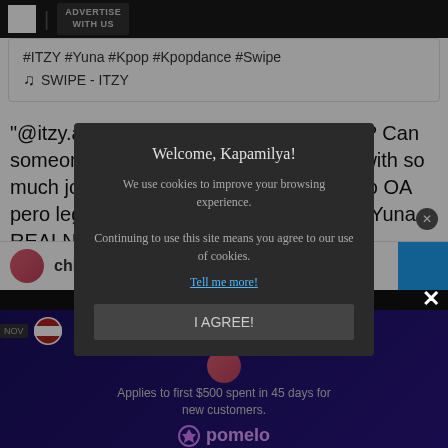ADVERTISE WITH US
#ITZY #Yuna #Kpop #Kpopdance #Swipe
♫ SWIPE - ITZY
"@itzy.all.in.us YUNA saw my dance!!??? Can someone pinch me now na! Im shaking with so much joy and excitement!! Hhahaha mejo OA pero legit nga!!! #TIKTOKduet with ITZY Yuna REALNESS!!!!! #midzy here thank
Chiu was o on Twitter, entering t
chi
Welcome, Kapamilya!
We use cookies to improve your browsing experience.
Continuing to use this site means you agree to our use of cookies.
Tell me more!
I AGREE!
Applies to first $500 spent in 45 days for new customers.
pomelo